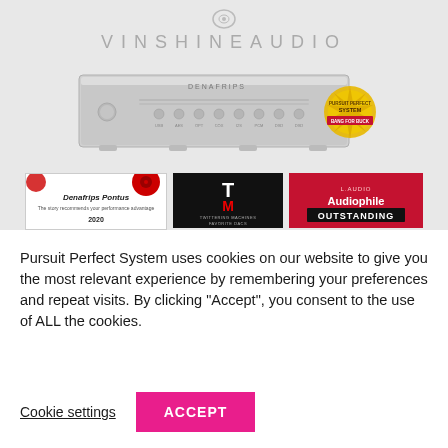[Figure (screenshot): Vinshine Audio website screenshot showing a Denafrips audio device (DAC unit), the Vinshine Audio logo at the top, and three award badges below the device: Denafrips Pontus 2020, Twittering Machines Favorite DACs (TM logo), and a red badge reading 'Audiophile Outstanding'. A gold circular 'Pursuit Perfect System Bang for Buck' award badge appears on the right side of the device.]
Pursuit Perfect System uses cookies on our website to give you the most relevant experience by remembering your preferences and repeat visits. By clicking “Accept”, you consent to the use of ALL the cookies.
Cookie settings
ACCEPT